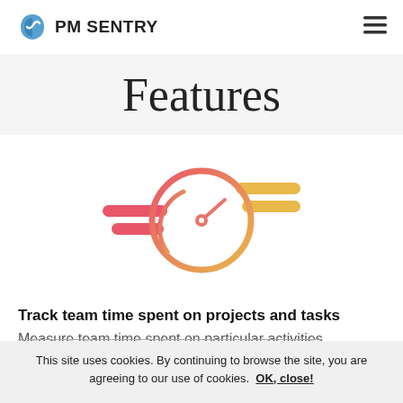PM SENTRY
Features
[Figure (illustration): Speedometer/timer icon with speed lines on both sides — orange-red gradient circle with needle, red horizontal lines on the left, yellow-orange horizontal lines on the right.]
Track team time spent on projects and tasks
Measure team time spent on particular activities
This site uses cookies. By continuing to browse the site, you are agreeing to our use of cookies. OK, close!